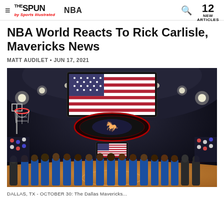THE SPUN by Sports Illustrated | NBA | 12 NEW ARTICLES
NBA World Reacts To Rick Carlisle, Mavericks News
MATT AUDILET • JUN 17, 2021
[Figure (photo): Dallas Mavericks players standing in a line on the court at American Airlines Center during the national anthem, with the scoreboard showing an American flag and arena lights overhead.]
DALLAS, TX - OCTOBER 30: The Dallas Mavericks...